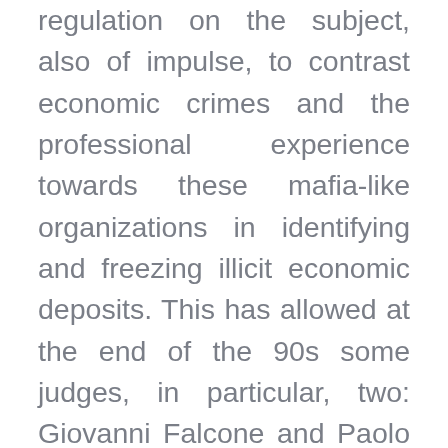regulation on the subject, also of impulse, to contrast economic crimes and the professional experience towards these mafia-like organizations in identifying and freezing illicit economic deposits. This has allowed at the end of the 90s some judges, in particular, two: Giovanni Falcone and Paolo Borsellino, to coin by means of the Palermo Convention (of 2000) a modus to understand the illicit flows of money by means of a simple but important indication: Follow the Money. So true is this, that it is narrated that these two magistrates traced the illicit flows...